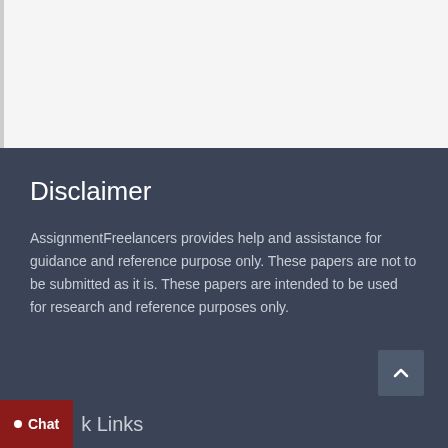Disclaimer
AssignmentFreelancers provides help and assistance for guidance and reference purpose only. These papers are not to be submitted as it is. These papers are intended to be used for research and reference purposes only.
Quick Links